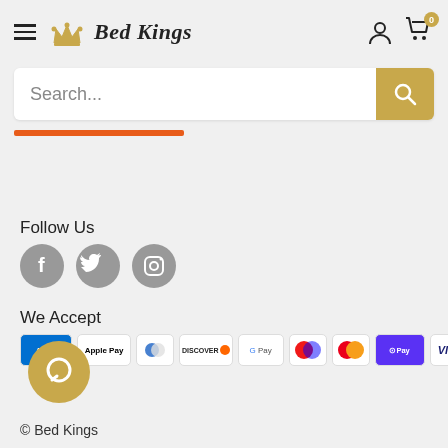[Figure (logo): Bed Kings logo with crown icon and brand name in serif font]
Search...
[Figure (illustration): Orange horizontal underline bar]
Follow Us
[Figure (illustration): Social media icons: Facebook, Twitter, Instagram - grey circles]
We Accept
[Figure (illustration): Payment method icons: Amex, Apple Pay, Diners, Discover, Google Pay, Maestro, Mastercard, Shop Pay, Visa]
[Figure (illustration): Chat bubble icon - gold/tan circle with chat icon]
© Bed Kings